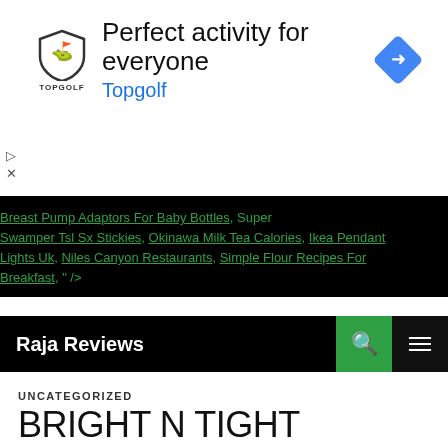[Figure (photo): Topgolf advertisement banner with shield logo, headline 'Perfect activity for everyone', subline 'Topgolf', and a blue diamond navigation icon on the right]
Breast Pump Adaptors For Baby Bottles, Super Swamper Tsl Sx Stickies, Okinawa Milk Tea Calories, Ikea Pendant Lights Uk, Niles Canyon Restaurants, Simple Flour Recipes For Breakfast, " />
Raja Reviews
UNCATEGORIZED
BRIGHT N TIGHT LAUREL GROWTH RATE
DECEMBER 27, 2020   LEAVE A COMMENT